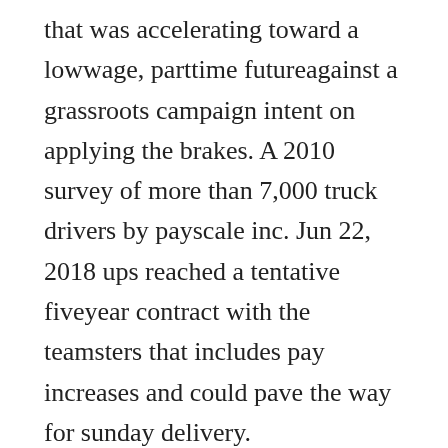that was accelerating toward a lowwage, parttime futureagainst a grassroots campaign intent on applying the brakes. A 2010 survey of more than 7,000 truck drivers by payscale inc. Jun 22, 2018 ups reached a tentative fiveyear contract with the teamsters that includes pay increases and could pave the way for sunday delivery.
Ups, teamsters reach deal for higher wages, potential sunday. A free inside look at ups salary trends based on 254 salaries wages for 1 jobs at ups. Apr 28, 2020 average ups hourly